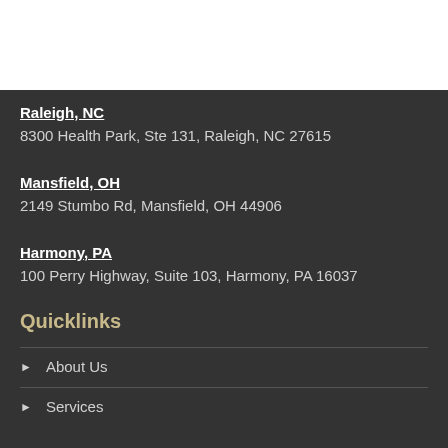Raleigh, NC
8300 Health Park, Ste 131, Raleigh, NC 27615
Mansfield, OH
2149 Stumbo Rd, Mansfield, OH 44906
Harmony, PA
100 Perry Highway, Suite 103, Harmony, PA 16037
Quicklinks
About Us
Services